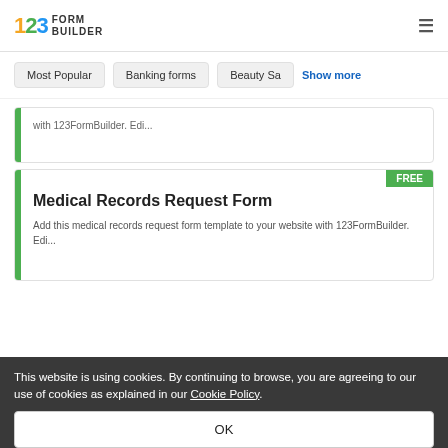[Figure (logo): 123FormBuilder logo with colorful numerals and text FORM BUILDER]
Most Popular
Banking forms
Beauty Sa
Show more
with 123FormBuilder. Edi...
FREE
Medical Records Request Form
Add this medical records request form template to your website with 123FormBuilder. Edi...
This website is using cookies. By continuing to browse, you are agreeing to our use of cookies as explained in our Cookie Policy.
OK